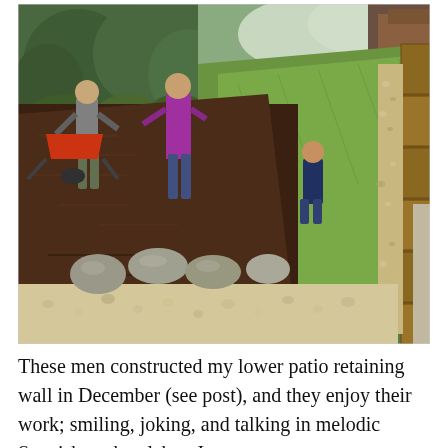[Figure (photo): Outdoor landscaping scene with three men working on a yard. One man is pushing a red wheelbarrow filled with mulch/soil. Another man stands near the wheelbarrow. A third man crouches at the far right. The yard shows a diagonal division: dark brown mulch on the left side and green grass sod on the right. Along the right edge is a retaining wall made of stacked wooden landscape timbers with light-colored gravel. At the bottom are scattered large smooth rocks and light-colored pea gravel. A paved concrete driveway or path is visible on the far right. Trees and shrubs are in the background.]
These men constructed my lower patio retaining wall in December (see post), and they enjoy their work; smiling, joking, and talking in melodic Spanish as they labor. I am